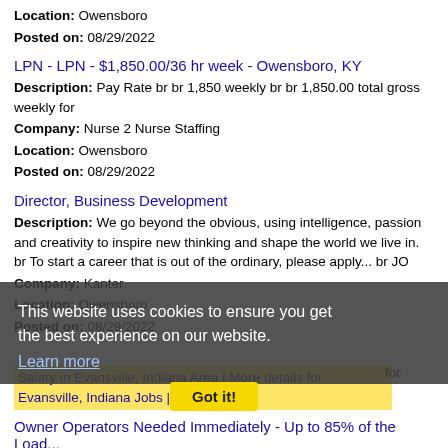Location: Owensboro
Posted on: 08/29/2022
LPN - LPN - $1,850.00/36 hr week - Owensboro, KY
Description: Pay Rate br br 1,850 weekly br br 1,850.00 total gross weekly for
Company: Nurse 2 Nurse Staffing
Location: Owensboro
Posted on: 08/29/2022
Director, Business Development
Description: We go beyond the obvious, using intelligence, passion and creativity to inspire new thinking and shape the world we live in. br To start a career that is out of the ordinary, please apply... br JO
Company: Kanter
Location: Owensboro
Posted on: 08/29/2022
This website uses cookies to ensure you get the best experience on our website. Learn more
Got it!
Salary in Evansville, Indiana Area | More details for Evansville, Indiana Jobs |Salary
Owner Operators Needed Immediately - Up to 85% of the Load...